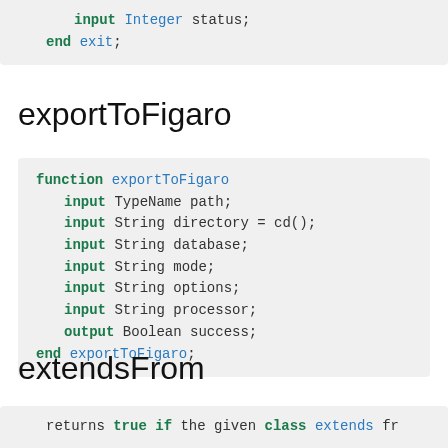[Figure (other): Code block snippet showing: input Integer status; end exit;]
exportToFigaro
[Figure (other): Code block: function exportToFigaro, input TypeName path; input String directory = cd(); input String database; input String mode; input String options; input String processor; output Boolean success; end exportToFigaro;]
extendsFrom
[Figure (other): Code block snippet: returns true if the given class extends fr...]